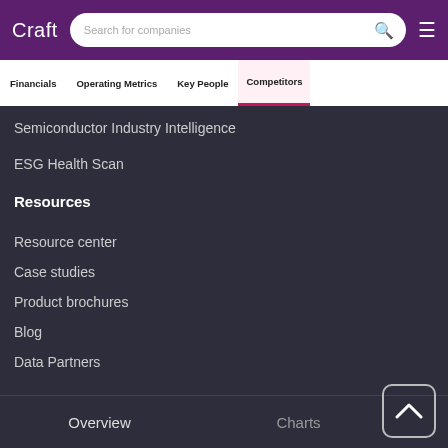Craft | Search for companies
Financials | Operating Metrics | Key People | Competitors
Semiconductor Industry Intelligence
ESG Health Scan
Resources
Resource center
Case studies
Product brochures
Blog
Data Partners
Overview | Charts